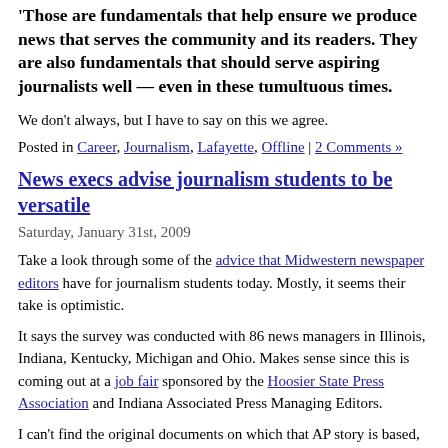Those are fundamentals that help ensure we produce news that serves the community and its readers. They are also fundamentals that should serve aspiring journalists well — even in these tumultuous times.
We don't always, but I have to say on this we agree.
Posted in Career, Journalism, Lafayette, Offline | 2 Comments »
News execs advise journalism students to be versatile
Saturday, January 31st, 2009
Take a look through some of the advice that Midwestern newspaper editors have for journalism students today. Mostly, it seems their take is optimistic.
It says the survey was conducted with 86 news managers in Illinois, Indiana, Kentucky, Michigan and Ohio. Makes sense since this is coming out at a job fair sponsored by the Hoosier State Press Association and Indiana Associated Press Managing Editors.
I can't find the original documents on which that AP story is based, but I came across some other versions with more quotes from the editors.